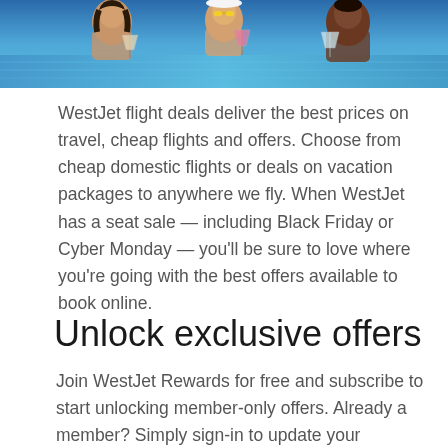[Figure (photo): Three people relaxing by a pool, holding cocktails. Two women and one man, photographed from above in a sunny outdoor setting.]
WestJet flight deals deliver the best prices on travel, cheap flights and offers. Choose from cheap domestic flights or deals on vacation packages to anywhere we fly. When WestJet has a seat sale — including Black Friday or Cyber Monday — you'll be sure to love where you're going with the best offers available to book online.
Unlock exclusive offers
Join WestJet Rewards for free and subscribe to start unlocking member-only offers. Already a member? Simply sign-in to update your communications preferences.